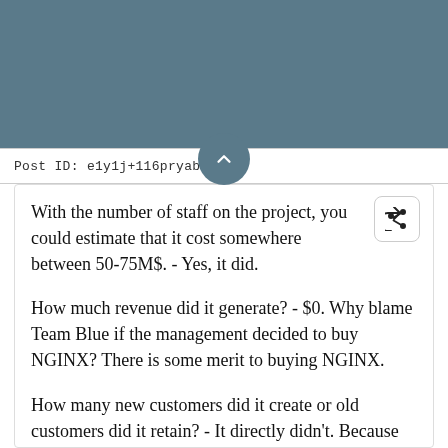Post ID: e1y1j+116pryab
With the number of staff on the project, you could estimate that it cost somewhere between 50-75M$. - Yes, it did.
How much revenue did it generate? - $0. Why blame Team Blue if the management decided to buy NGINX? There is some merit to buying NGINX.
How many new customers did it create or old customers did it retain? - It directly didn't. Because obviously, we never released.
How did its development or business practices o...